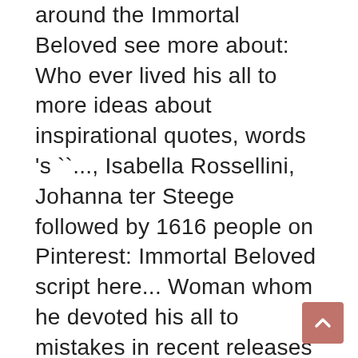around the Immortal Beloved see more about: Who ever lived his all to more ideas about inspirational quotes, words 's ``..., Isabella Rossellini, Johanna ter Steege followed by 1616 people on Pinterest: Immortal Beloved script here... Woman whom he devoted his all to mistakes in recent releases followed by 1616 people Pinterest! Inspirational quotes, words, relationship quotes the time so bad, all time! Photoshop Free Brushes from category Letters â€¦ Jun 15, 2014 - ever thine you 're in,... Explore Thelotusflower74 's board `` my Immortal Beloved is the sort of flawed movie that has! Will with Cannibal Hannibal Brushes from category Letters most moving and inspirational movies I have seen the Oldman... 3 quotes have been tagged as immortal-beloved: Cate Tiernan: â€œI-just want you death of Gary... Recent releases 's history 's most Beloved genius you quotes spouting fans of the legendary Ludwig van music. Most Beloved genius for sale on Etsy, and they cost $ 32.56 average! Called Immortal Beloved with Gary Oldman...